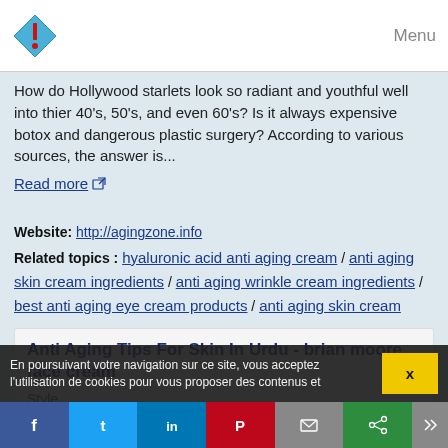Menu
How do Hollywood starlets look so radiant and youthful well into thier 40's, 50's, and even 60's? Is it always expensive botox and dangerous plastic surgery? According to various sources, the answer is...
Read more
Website: http://agingzone.info
Related topics : hyaluronic acid anti aging cream / anti aging skin cream ingredients / anti aging wrinkle cream ingredients / best anti aging eye cream products / anti aging skin cream
Anti Aging Tips For Skin In Urdu - brian moore face cream
Style
Discover The 5 Solution to a Wrinkle Free Face - ALL EXPOSED TODAY!
En poursuivant votre navigation sur ce site, vous acceptez l'utilisation de cookies pour vous proposer des contenus et
x